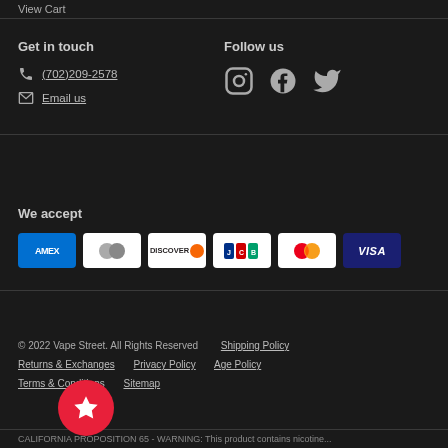View Cart
Get in touch
(702)209-2578
Email us
Follow us
[Figure (illustration): Instagram, Facebook, and Twitter social media icons]
We accept
[Figure (illustration): Payment method badges: AMEX, Diners Club, Discover, JCB, Mastercard, Visa]
© 2022 Vape Street. All Rights Reserved
Shipping Policy
Returns & Exchanges
Privacy Policy
Age Policy
Terms & Conditions
Sitemap
[Figure (illustration): Red circular badge with white star icon]
CALIFORNIA PROPOSITION 65 - WARNING: This product contains nicotine...